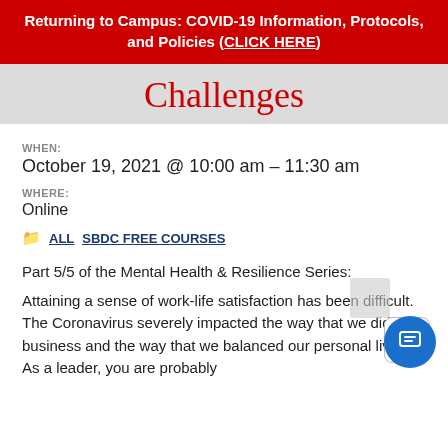Returning to Campus: COVID-19 Information, Protocols, and Policies (CLICK HERE)
Challenges
WHEN:
October 19, 2021 @ 10:00 am – 11:30 am
WHERE:
Online
ALL   SBDC FREE COURSES
Part 5/5 of the Mental Health & Resilience Series:
Attaining a sense of work-life satisfaction has been difficult. The Coronavirus severely impacted the way that we did business and the way that we balanced our personal lives. As a leader, you are probably